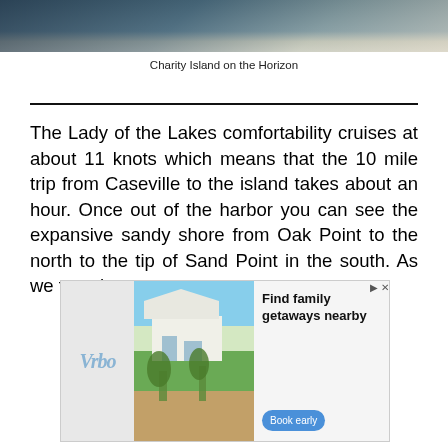[Figure (photo): Partial view of water and boat deck, showing Charity Island on the horizon]
Charity Island on the Horizon
The Lady of the Lakes comfortability cruises at about 11 knots which means that the 10 mile trip from Caseville to the island takes about an hour. Once out of the harbor you can see the expansive sandy shore from Oak Point to the north to the tip of Sand Point in the south. As we travel
[Figure (photo): Vrbo advertisement showing a beach house with palm trees. Text reads: Find family getaways nearby. Book early button.]